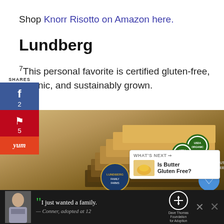Shop Knorr Risotto on Amazon here.
Lundberg
7This personal favorite is certified gluten-free, organic, and sustainably grown.
[Figure (photo): Stack of Lundberg USDA Organic risotto/rice boxes fanned out showing multiple boxes with USDA Organic seals]
WHAT'S NEXT → Is Butter Gluten Free?
[Figure (photo): Advertisement banner: boy with quote 'I just wanted a family. — Conner, adopted at 12' with Dave Thomas Foundation for Adoption logo]